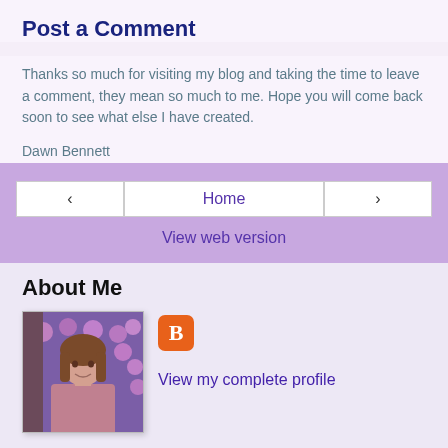Post a Comment
Thanks so much for visiting my blog and taking the time to leave a comment, they mean so much to me. Hope you will come back soon to see what else I have created.
Dawn Bennett
‹  Home  ›  View web version
About Me
[Figure (photo): Profile photo of a woman with brown hair wearing a pink/mauve shirt, standing in front of purple flowers]
[Figure (logo): Blogger orange square icon with white B letter]
View my complete profile
Powered by Blogger.